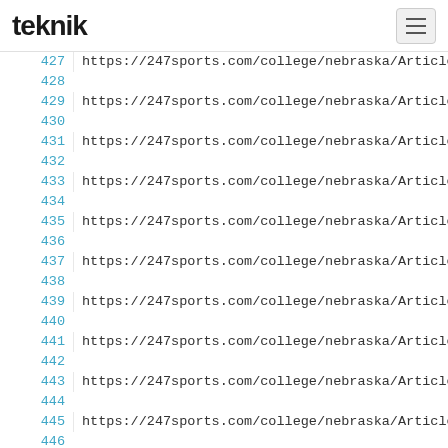teknik
427  https://247sports.com/college/nebraska/Article/w
428
429  https://247sports.com/college/nebraska/Article/w
430
431  https://247sports.com/college/nebraska/Article/j
432
433  https://247sports.com/college/nebraska/Article/j
434
435  https://247sports.com/college/nebraska/Article/a
436
437  https://247sports.com/college/nebraska/Article/f
438
439  https://247sports.com/college/nebraska/Article/f
440
441  https://247sports.com/college/nebraska/Article/p
442
443  https://247sports.com/college/nebraska/Article/m
444
445  https://247sports.com/college/nebraska/Article/f
446
447  https://247sports.com/college/nebraska/Article/w
448
449  https://247sports.com/college/nebraska/Article/m
450
451  https://247sports.com/college/alabama/Article/ma
452